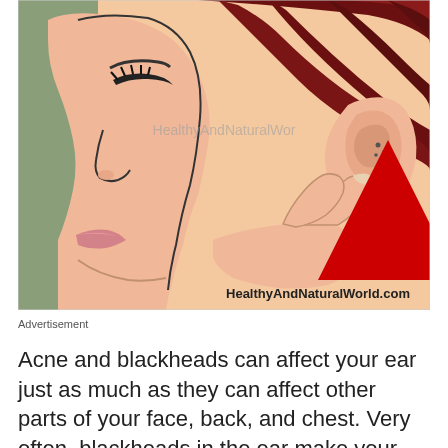[Figure (illustration): Comic/cartoon style illustration of a woman in profile touching her ear with her fingers. A red arrow points to the ear canal area. Watermark 'HealthyAndNaturalWorld.com' appears on the image.]
Advertisement
Acne and blackheads can affect your ear just as much as they can affect other parts of your face, back, and chest. Very often, blackheads in the ear make your ears look dirty and unclean. However, the reason for pores in your ears getting clogged and turning black is not to do with being not far from us, blackheads in